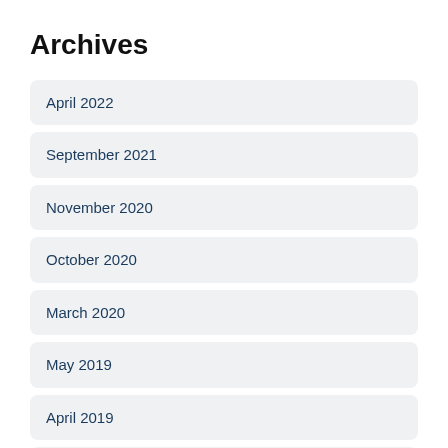Archives
April 2022
September 2021
November 2020
October 2020
March 2020
May 2019
April 2019
March 2019
January 2019
December 2018